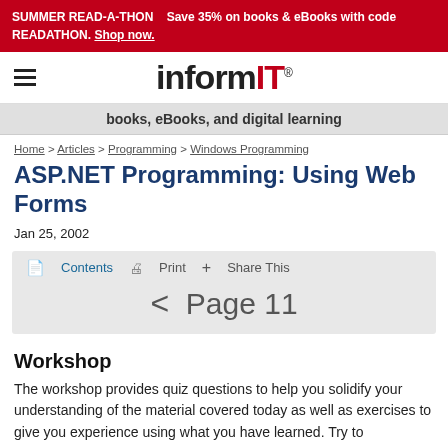SUMMER READ-A-THON READATHON. Save 35% on books & eBooks with code READATHON. Shop now.
[Figure (logo): InformIT logo with hamburger menu icon]
books, eBooks, and digital learning
Home > Articles > Programming > Windows Programming
ASP.NET Programming: Using Web Forms
Jan 25, 2002
Contents  Print  + Share This  <  Page 11
Workshop
The workshop provides quiz questions to help you solidify your understanding of the material covered today as well as exercises to give you experience using what you have learned. Try to